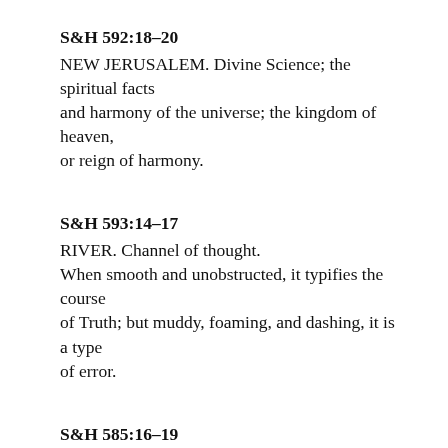S&H 592:18–20
NEW JERUSALEM. Divine Science; the spiritual facts and harmony of the universe; the kingdom of heaven, or reign of harmony.
S&H 593:14–17
RIVER. Channel of thought. When smooth and unobstructed, it typifies the course of Truth; but muddy, foaming, and dashing, it is a type of error.
S&H 585:16–19
EUPHRATES (river). Divine Science...